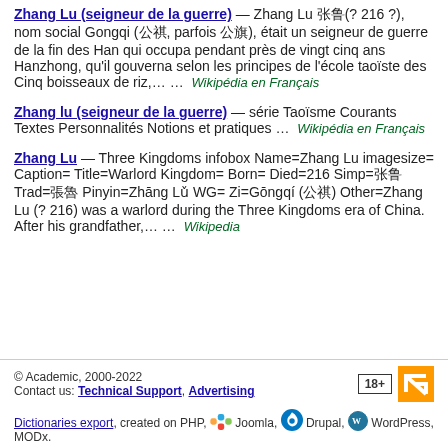Zhang Lu (seigneur de la guerre) — Zhang Lu 张鲁(? 216 ?), nom social Gongqi (公祺, parfois 公旗), était un seigneur de guerre de la fin des Han qui occupa pendant près de vingt cinq ans Hanzhong, qu'il gouverna selon les principes de l'école taoïste des Cinq boisseaux de riz,… … Wikipédia en Français
Zhang lu (seigneur de la guerre) — série Taoïsme Courants Textes Personnalités Notions et pratiques … Wikipédia en Français
Zhang Lu — Three Kingdoms infobox Name=Zhang Lu imagesize= Caption= Title=Warlord Kingdom= Born= Died=216 Simp=张鲁 Trad=張魯 Pinyin=Zhāng Lǔ WG= Zi=Gōngqí (公祺) Other=Zhang Lu (? 216) was a warlord during the Three Kingdoms era of China. After his grandfather,… … Wikipedia
© Academic, 2000-2022
Contact us: Technical Support, Advertising
Dictionaries export, created on PHP, Joomla, Drupal, WordPress, MODx.